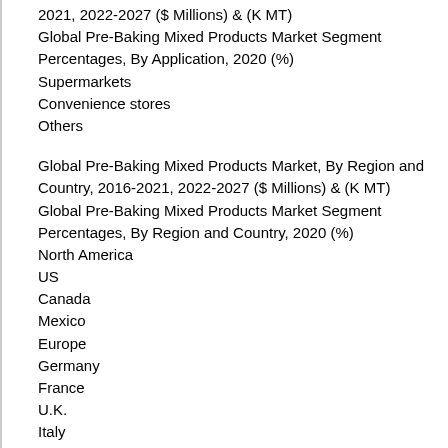2021, 2022-2027 ($ Millions) & (K MT)
Global Pre-Baking Mixed Products Market Segment Percentages, By Application, 2020 (%)
Supermarkets
Convenience stores
Others
Global Pre-Baking Mixed Products Market, By Region and Country, 2016-2021, 2022-2027 ($ Millions) & (K MT)
Global Pre-Baking Mixed Products Market Segment Percentages, By Region and Country, 2020 (%)
North America
US
Canada
Mexico
Europe
Germany
France
U.K.
Italy
Russia
Nordic Countries
Benelux
Rest of Europe
Asia